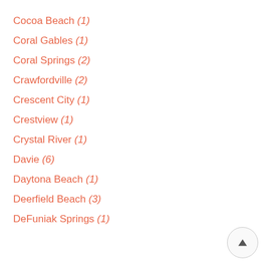Cocoa Beach (1)
Coral Gables (1)
Coral Springs (2)
Crawfordville (2)
Crescent City (1)
Crestview (1)
Crystal River (1)
Davie (6)
Daytona Beach (1)
Deerfield Beach (3)
DeFuniak Springs (1)